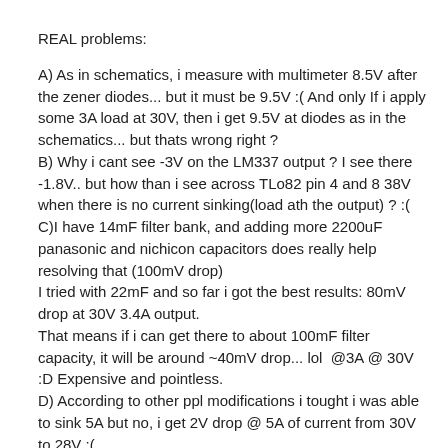REAL problems:
A) As in schematics, i measure with multimeter 8.5V after the zener diodes... but it must be 9.5V :( And only If i apply some 3A load at 30V, then i get 9.5V at diodes as in the schematics... but thats wrong right ? B) Why i cant see -3V on the LM337 output ? I see there -1.8V.. but how than i see across TLo82 pin 4 and 8 38V when there is no current sinking(load ath the output) ? :( C)I have 14mF filter bank, and adding more 2200uF panasonic and nichicon capacitors does really help resolving that (100mV drop) I tried with 22mF and so far i got the best results: 80mV drop at 30V 3.4A output. That means if i can get there to about 100mF filter capacity, it will be around ~40mV drop... lol  @3A @ 30V :D Expensive and pointless. D) According to other ppl modifications i tought i was able to sink 5A but no, i get 2V drop @ 5A of current from 30V to 28V :(
Is there someone who can help me with these problems and explain why :S And the most important part of reference voltage... why do i have to buy the Exactly the same Diodes used in Schematics ? I tought bigger diode is easier to install and more releable? :(